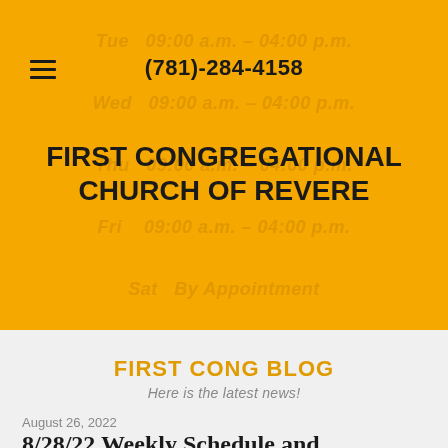(781)-284-4158
FIRST CONGREGATIONAL CHURCH OF REVERE
Sun  Closed
FIRST CONG BLOG
Here is the latest news!
August 26, 2022
8/28/22 Weekly Schedule and